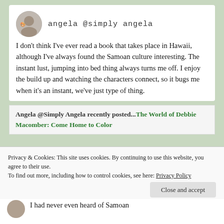angela @simply angela
I don't think I've ever read a book that takes place in Hawaii, although I've always found the Samoan culture interesting. The instant lust, jumping into bed thing always turns me off. I enjoy the build up and watching the characters connect, so it bugs me when it's an instant, we've just type of thing.
Angela @Simply Angela recently posted...The World of Debbie Macomber: Come Home to Color
Privacy & Cookies: This site uses cookies. By continuing to use this website, you agree to their use.
To find out more, including how to control cookies, see here: Privacy Policy
Close and accept
I had never even heard of Samoan